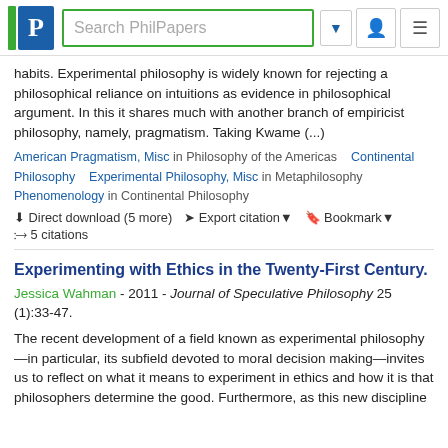Search PhilPapers
habits. Experimental philosophy is widely known for rejecting a philosophical reliance on intuitions as evidence in philosophical argument. In this it shares much with another branch of empiricist philosophy, namely, pragmatism. Taking Kwame (...)
American Pragmatism, Misc in Philosophy of the Americas  Continental Philosophy  Experimental Philosophy, Misc in Metaphilosophy  Phenomenology in Continental Philosophy
Direct download (5 more)  Export citation▼  Bookmark▼
5 citations
Experimenting with Ethics in the Twenty-First Century.
Jessica Wahman - 2011 - Journal of Speculative Philosophy 25 (1):33-47.
The recent development of a field known as experimental philosophy—in particular, its subfield devoted to moral decision making—invites us to reflect on what it means to experiment in ethics and how it is that philosophers determine the good. Furthermore, as this new discipline